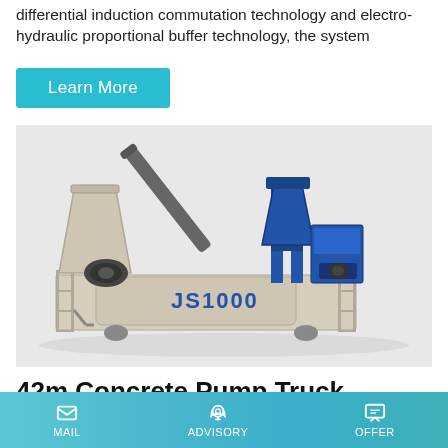differential induction commutation technology and electro-hydraulic proportional buffer technology, the system
Learn More
[Figure (photo): Industrial concrete mixing equipment JS1000, a large beige/cream colored concrete mixer with blue steel frame structure, conveyor belt, and auxiliary components, labeled 'JS1000' on the drum.]
42m Concrete Pump Truck
MAIL   ADVISORY   OFFER